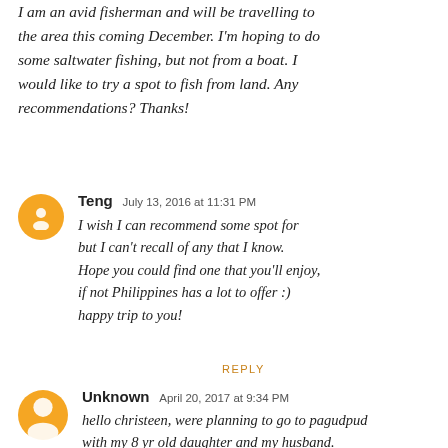I am an avid fisherman and will be travelling to the area this coming December. I'm hoping to do some saltwater fishing, but not from a boat. I would like to try a spot to fish from land. Any recommendations? Thanks!
Teng  July 13, 2016 at 11:31 PM
I wish I can recommend some spot for but I can't recall of any that I know. Hope you could find one that you'll enjoy, if not Philippines has a lot to offer :) happy trip to you!
REPLY
Unknown  April 20, 2017 at 9:34 PM
hello christeen, were planning to go to pagudpud with my 8 yr old daughter and my husband. what beach resorts in saud beach can you refer? any recommendations and suggestion? any idea of casa victoria beach resort?